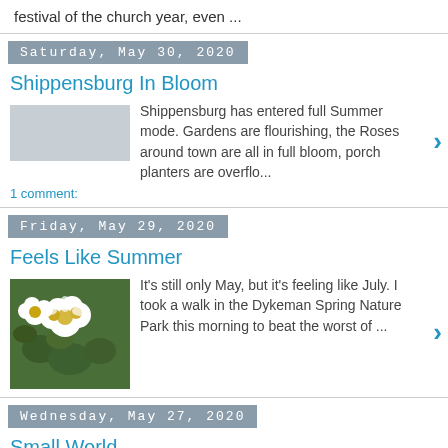festival of the church year, even ...
Saturday, May 30, 2020
Shippensburg In Bloom
Shippensburg has entered full Summer mode. Gardens are flourishing, the Roses around town are all in full bloom, porch planters are overflo...
1 comment:
Friday, May 29, 2020
Feels Like Summer
[Figure (photo): Photo of white flowers with yellow centers on green foliage]
It's still only May, but it's feeling like July. I took a walk in the Dykeman Spring Nature Park this morning to beat the worst of ...
Wednesday, May 27, 2020
Small World
I went for a walk on the Rail Trail this morning
[Figure (photo): Thumbnail image placeholder]